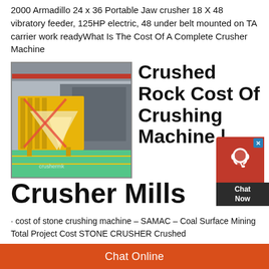2000 Armadillo 24 x 36 Portable Jaw crusher 18 X 48 vibratory feeder, 125HP electric, 48 under belt mounted on TA carrier work readyWhat Is The Cost Of A Complete Crusher Machine
[Figure (photo): Industrial yellow rock crushing machine in a factory/warehouse setting with red overhead crane, green floor.]
Crushed Rock Cost Of Crushing Machine | Crusher Mills
· cost of stone crushing machine – SAMAC – Coal Surface Mining Total Project Cost STONE CRUSHER Crushed
Chat Online